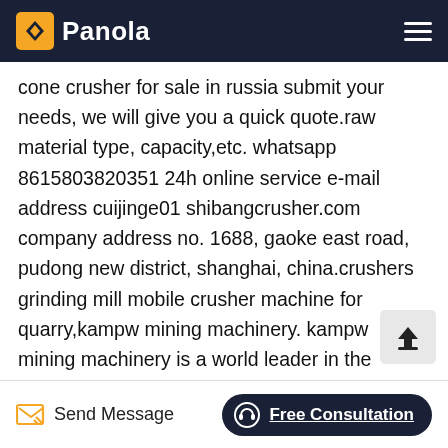Panola
cone crusher for sale in russia submit your needs, we will give you a quick quote.raw material type, capacity,etc. whatsapp 8615803820351 24h online service e-mail address cuijinge01 shibangcrusher.com company address no. 1688, gaoke east road, pudong new district, shanghai, china.crushers grinding mill mobile crusher machine for quarry,kampw mining machinery. kampw mining machinery is a world leader in the design, manufacture and supply of specialist crushing amp screening equipment for the mining, aggregates, recycling and process industries goal is to provide the finest-quality products and serv to our customers and to do so more efficiently and economically than our ....hammer coal crusher
Send Message | Free Consultation